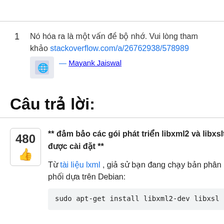1  Nó hóa ra là một vấn đề bộ nhớ. Vui lòng tham khảo stackoverflow.com/a/26762938/578989 — Mayank Jaiswal
Câu trả lời:
** đảm bảo các gói phát triển libxml2 và libxslt được cài đặt **
Từ tài liệu lxml , giả sử bạn đang chạy bản phân phối dựa trên Debian:
sudo apt-get install libxml2-dev libxsl